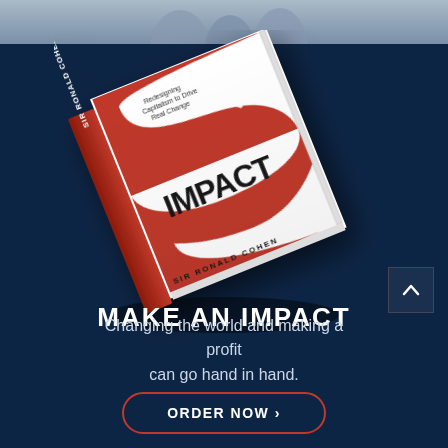[Figure (photo): Top strip showing people in background photo]
[Figure (illustration): Book cover of 'IMPACT: Redesigning Capitalism to Drive Real Change' by Sir Ronald Cohen, angled 3D view with large red dollar sign and white heart cutout, bold black IMPACT text]
MAKE AN IMPACT
Changing the world and making a profit can go hand in hand.
ORDER NOW >